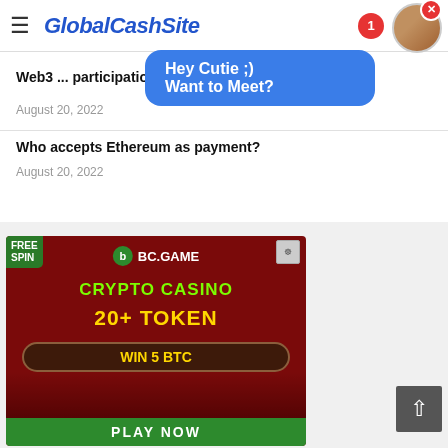GlobalCashSite
Hey Cutie ;) Want to Meet?
Web3 ... participation
August 20, 2022
Who accepts Ethereum as payment?
August 20, 2022
[Figure (photo): BC.GAME crypto casino advertisement banner showing free spin offer, crypto casino, 20+ token, win 5 BTC, play now on dark red background with cartoon characters]